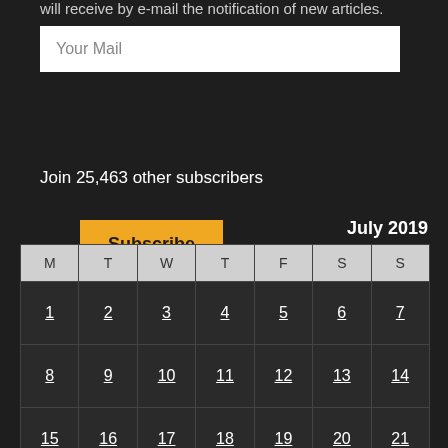will receive by e-mail the notification of new articles.
Your Mail
Subscribe
Join 25,463 other subscribers
July 2019
| M | T | W | T | F | S | S |
| --- | --- | --- | --- | --- | --- | --- |
| 1 | 2 | 3 | 4 | 5 | 6 | 7 |
| 8 | 9 | 10 | 11 | 12 | 13 | 14 |
| 15 | 16 | 17 | 18 | 19 | 20 | 21 |
| 22 | 23 | 24 | 25 | 26 | 27 | ^ |
| 29 | 30 | 31 |  |  |  |  |